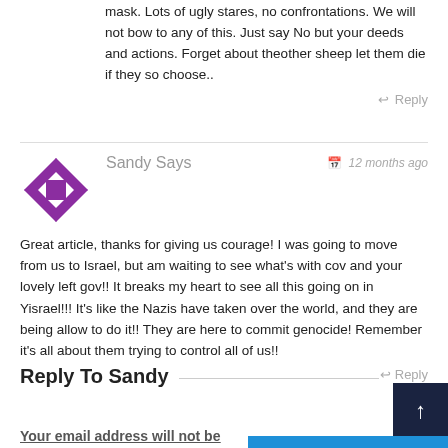mask. Lots of ugly stares, no confrontations. We will not bow to any of this. Just say No but your deeds and actions. Forget about theother sheep let them die if they so choose..
Reply
Sandy Says
12 months ago
Great article, thanks for giving us courage! I was going to move from us to Israel, but am waiting to see what's with cov and your lovely left gov!! It breaks my heart to see all this going on in Yisrael!!! It's like the Nazis have taken over the world, and they are being allow to do it!! They are here to commit genocide! Remember it's all about them trying to control all of us!!
Reply
Reply To Sandy
Your email address will not be